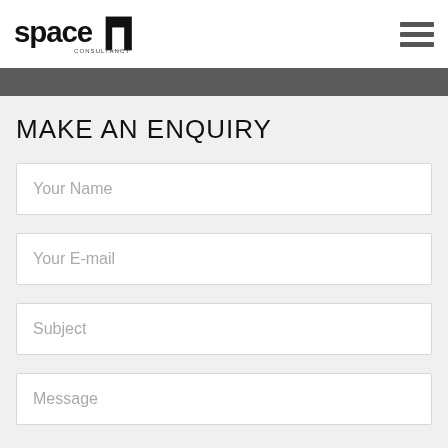space consultancy logo and hamburger menu
MAKE AN ENQUIRY
Your Name
Your E-mail
Subject
Message